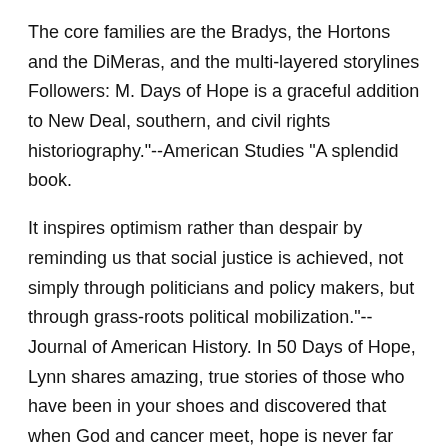The core families are the Bradys, the Hortons and the DiMeras, and the multi-layered storylines Followers: M. Days of Hope is a graceful addition to New Deal, southern, and civil rights historiography."--American Studies "A splendid book.
It inspires optimism rather than despair by reminding us that social justice is achieved, not simply through politicians and policy makers, but through grass-roots political mobilization."--Journal of American History. In 50 Days of Hope, Lynn shares amazing, true stories of those who have been in your shoes and discovered that when God and cancer meet, hope is never far away.
Whether you're a cancer patient or walking with a loved one on a cancer journey, Days of hope book find 50 Days of Hope packed with the daily dose of encouragement you need/5(6).
Days of Hope, a beautifully designed inspirational book of short readings, Scripture verses, and journaling space is the perfect tool to promote Christian mindfulness. Whether you are looking for a thoughtful gift to encourage a loved one or a simple tool to create a